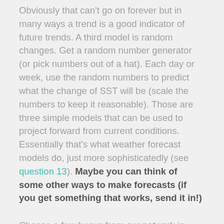Obviously that can't go on forever but in many ways a trend is a good indicator of future trends. A third model is random changes. Get a random number generator (or pick numbers out of a hat). Each day or week, use the random numbers to predict what the change of SST will be (scale the numbers to keep it reasonable). Those are three simple models that can be used to project forward from current conditions. Essentially that's what weather forecast models do, just more sophisticatedly (see question 13). Maybe you can think of some other ways to make forecasts (if you get something that works, send it in!)
Choose a few buoys from our network in different regions of the tropical Pacific (for